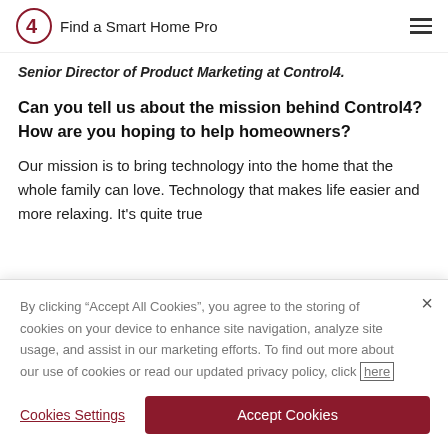Find a Smart Home Pro
Senior Director of Product Marketing at Control4.
Can you tell us about the mission behind Control4? How are you hoping to help homeowners?
Our mission is to bring technology into the home that the whole family can love. Technology that makes life easier and more relaxing. It's quite true
By clicking "Accept All Cookies", you agree to the storing of cookies on your device to enhance site navigation, analyze site usage, and assist in our marketing efforts. To find out more about our use of cookies or read our updated privacy policy, click here
Cookies Settings | Accept Cookies